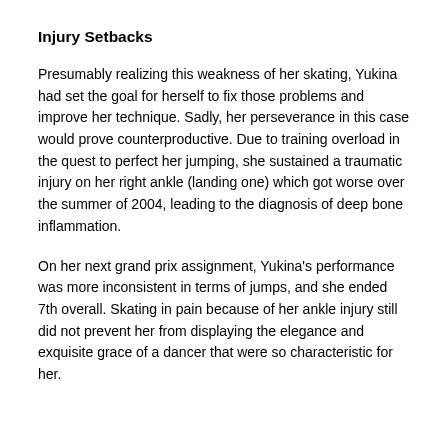Injury Setbacks
Presumably realizing this weakness of her skating, Yukina had set the goal for herself to fix those problems and improve her technique. Sadly, her perseverance in this case would prove counterproductive. Due to training overload in the quest to perfect her jumping, she sustained a traumatic injury on her right ankle (landing one) which got worse over the summer of 2004, leading to the diagnosis of deep bone inflammation.
On her next grand prix assignment, Yukina's performance was more inconsistent in terms of jumps, and she ended 7th overall. Skating in pain because of her ankle injury still did not prevent her from displaying the elegance and exquisite grace of a dancer that were so characteristic for her.